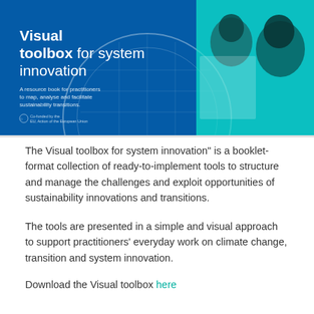[Figure (photo): Book cover image for 'Visual toolbox for system innovation'. Blue and teal toned background showing people working at a whiteboard. White text reads 'Visual toolbox for system innovation' and subtitle 'A resource book for practitioners to map, analyse and facilitate sustainability transitions.' Small EU co-funded logo at bottom left.]
The  Visual toolbox for system innovation" is a booklet-format collection of ready-to-implement tools to structure and manage the challenges and exploit opportunities of sustainability innovations and transitions.
The tools are presented in a simple and visual approach to support practitioners' everyday work on climate change, transition and system innovation.
Download the Visual toolbox here